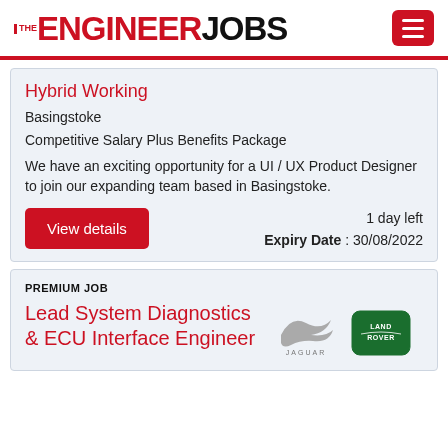THE ENGINEER JOBS
Hybrid Working
Basingstoke
Competitive Salary Plus Benefits Package
We have an exciting opportunity for a UI / UX Product Designer to join our expanding team based in Basingstoke.
1 day left
Expiry Date : 30/08/2022
PREMIUM JOB
Lead System Diagnostics & ECU Interface Engineer
[Figure (logo): Jaguar and Land Rover brand logos side by side]